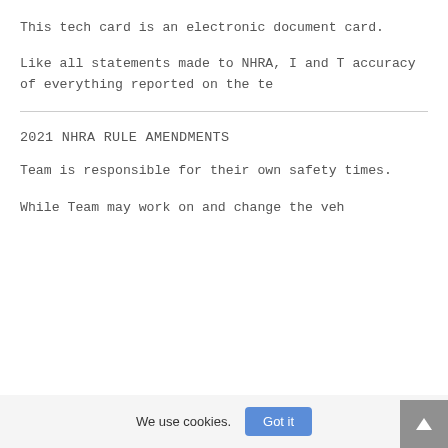This tech card is an electronic document card.
Like all statements made to NHRA, I and T accuracy of everything reported on the te
2021 NHRA RULE AMENDMENTS
Team is responsible for their own safety times.
While Team may work on and change the veh
We use cookies.